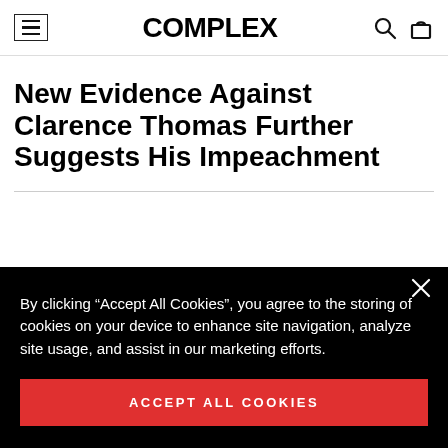COMPLEX
New Evidence Against Clarence Thomas Further Suggests His Impeachment
By clicking “Accept All Cookies”, you agree to the storing of cookies on your device to enhance site navigation, analyze site usage, and assist in our marketing efforts.
ACCEPT ALL COOKIES